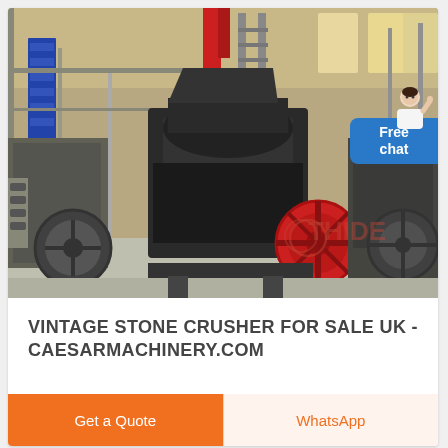[Figure (photo): Industrial stone crusher machinery in a large factory warehouse. Multiple large black metal crushing machines with red flywheel visible, conveyor systems, and factory structure. Watermark 'THIDE' visible in lower right area of photo. A 'Free chat' bubble with a person icon overlay in upper right corner.]
VINTAGE STONE CRUSHER FOR SALE UK - CAESARMACHINERY.COM
Get a Quote
WhatsApp